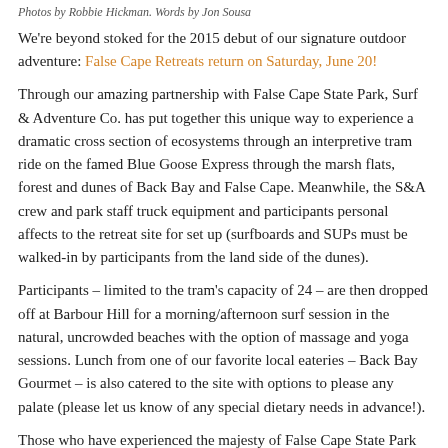Photos by Robbie Hickman. Words by Jon Sousa
We're beyond stoked for the 2015 debut of our signature outdoor adventure: False Cape Retreats return on Saturday, June 20!
Through our amazing partnership with False Cape State Park, Surf & Adventure Co. has put together this unique way to experience a dramatic cross section of ecosystems through an interpretive tram ride on the famed Blue Goose Express through the marsh flats, forest and dunes of Back Bay and False Cape. Meanwhile, the S&A crew and park staff truck equipment and participants personal affects to the retreat site for set up (surfboards and SUPs must be walked-in by participants from the land side of the dunes).
Participants – limited to the tram's capacity of 24 – are then dropped off at Barbour Hill for a morning/afternoon surf session in the natural, uncrowded beaches with the option of massage and yoga sessions. Lunch from one of our favorite local eateries – Back Bay Gourmet – is also catered to the site with options to please any palate (please let us know of any special dietary needs in advance!).
Those who have experienced the majesty of False Cape State Park and the thrill of surfing its healthy, natural sandbars know how special of an experience our False Cape Retreats truly are. Enjoy these photos by Robbie Hickman of our July 12, 2o14 retreat! Detailed